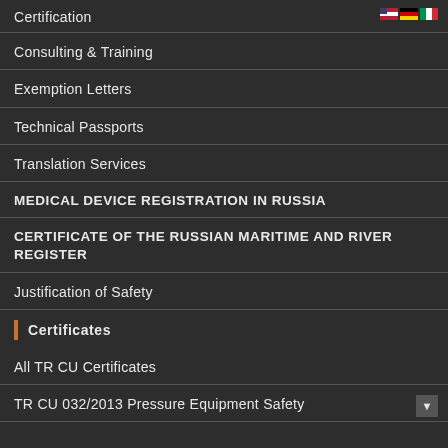Certification
Consulting & Training
Exemption Letters
Technical Passports
Translation Services
MEDICAL DEVICE REGISTRATION IN RUSSIA
CERTIFICATE OF THE RUSSIAN MARITIME AND RIVER REGISTER
Justification of Safety
Certificates
All TR CU Certificates
TR CU 032/2013 Pressure Equipment Safety